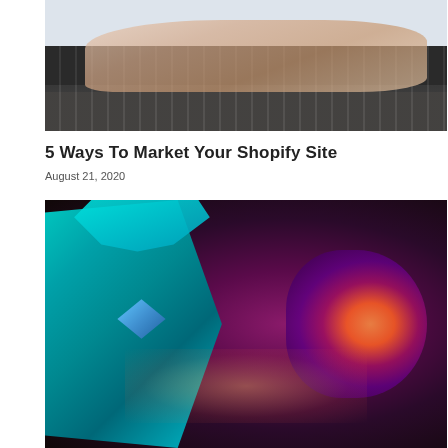[Figure (photo): Close-up photo of hands with painted fingernails typing on a laptop keyboard, with the laptop screen visible at the top]
5 Ways To Market Your Shopify Site
August 21, 2020
[Figure (photo): A decorative Venetian masquerade mask in teal/turquoise with gold trim and teal feathers, next to a glowing purple candle holder, on a dark background]